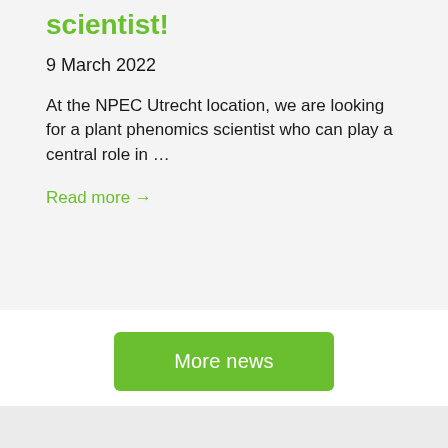scientist!
9 March 2022
At the NPEC Utrecht location, we are looking for a plant phenomics scientist who can play a central role in …
Read more →
More news